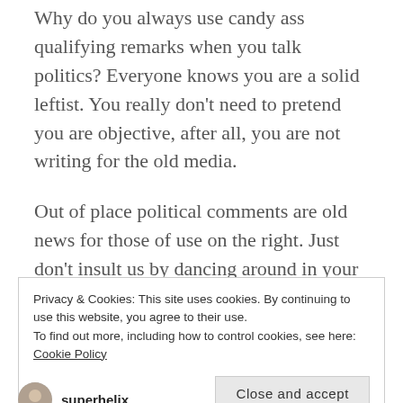Why do you always use candy ass qualifying remarks when you talk politics? Everyone knows you are a solid leftist. You really don't need to pretend you are objective, after all, you are not writing for the old media.
Out of place political comments are old news for those of use on the right. Just don't insult us by dancing around in your loafers when you do it—go for it dude!
Privacy & Cookies: This site uses cookies. By continuing to use this website, you agree to their use.
To find out more, including how to control cookies, see here: Cookie Policy

[Close and accept]
superhelix